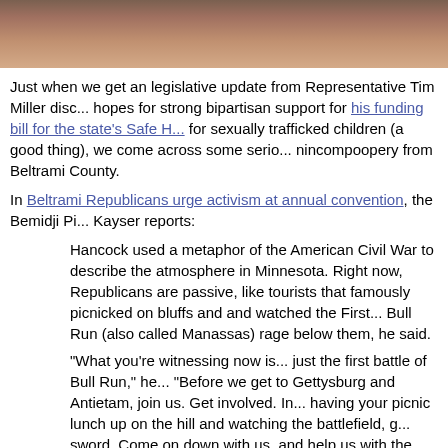[Figure (photo): Cropped photo of a person, showing partial face/head from a news article page.]
Just when we get an legislative update from Representative Tim Miller discussing his hopes for strong bipartisan support for his funding bill for the state's Safe H... for sexually trafficked children (a good thing), we come across some serious nincompoopery from Beltrami County.
In Beltrami Republicans urge activism at annual convention, the Bemidji Pi... Kayser reports:
Hancock used a metaphor of the American Civil War to describe the atmosphere in Minnesota. Right now, Republicans are passive, like tourists that famously picnicked on bluffs and and watched the First... Bull Run (also called Manassas) rage below them, he said.
"What you're witnessing now is... just the first battle of Bull Run," he... "Before we get to Gettysburg and Antietam, join us. Get involved. In... having your picnic lunch up on the hill and watching the battlefield, g... sword. Come on down with us, and help us with the battle."
Perhaps this explains last year's sword attack last year in Anoka. Aside fro... Rwanda rhetoric, Hancock did find common ground, however, with some D...
"I think the (Iron) Range Democrats would like to get the mines ope... they'd like to get the oil pipes, I think they'd like to grow the econom... said.
Hancock called for volunteers to run for state office: to unseat Demo... legislators Sen.Rod Skoe, DFL-Clearbrook, and Rep. John Persell,... Bemidii, in 2016, and eventually to replace Hancock himself.